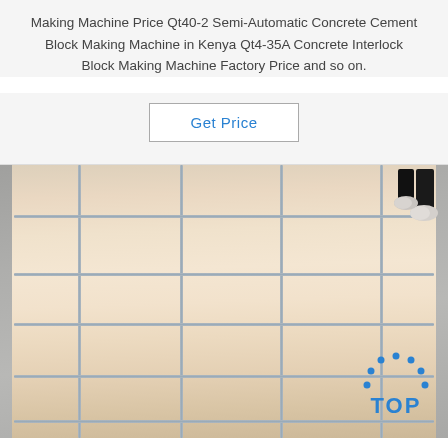Making Machine Price Qt40-2 Semi-Automatic Concrete Cement Block Making Machine in Kenya Qt4-35A Concrete Interlock Block Making Machine Factory Price and so on.
Get Price
[Figure (photo): A large wooden crate or pallet with metal strapping bands secured in a grid pattern, lying flat on a concrete floor. A person's feet and lower legs are visible in the top right corner.]